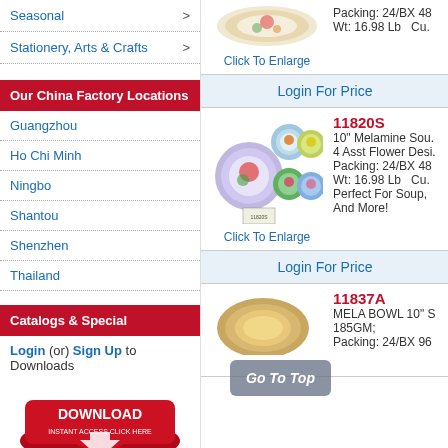Seasonal >
Stationery, Arts & Crafts >
Our China Factory Locations
Guangzhou
Ho Chi Minh
Ningbo
Shantou
Shenzhen
Thailand
Catalogs & Special
Login (or) Sign Up to Downloads
[Figure (illustration): Red download button with text DOWNLOAD INSTANT ACCESS CLICK HERE]
Packing: 24/BX 48
Wt: 16.98 Lb   Cu.
Click To Enlarge
Login For Price
[Figure (photo): 10 inch melamine soup plates with 4 assorted flower designs, shown in a set]
Click To Enlarge
11820S
10" Melamine Sou.
4 Asst Flower Desi.
Packing: 24/BX 48
Wt: 16.98 Lb   Cu.
Perfect For Soup,
And More!
Login For Price
[Figure (photo): Partial view of melamine bowl product 11837A]
11837A
MELA BOWL 10" S
185GM;
Packing: 24/BX 96
Go To Top